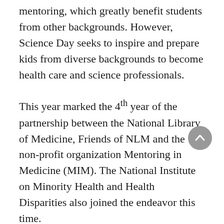mentoring, which greatly benefit students from other backgrounds. However, Science Day seeks to inspire and prepare kids from diverse backgrounds to become health care and science professionals.
This year marked the 4th year of the partnership between the National Library of Medicine, Friends of NLM and the non-profit organization Mentoring in Medicine (MIM). The National Institute on Minority Health and Health Disparities also joined the endeavor this time.
Nearly 500 middle and high school students—many of them African-American, Latino and